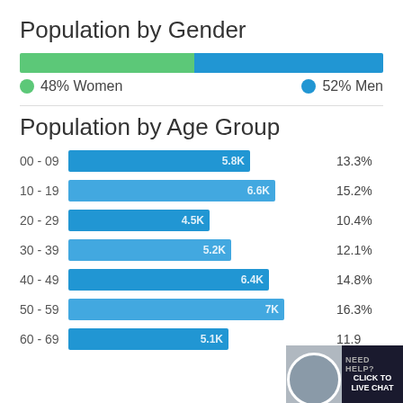Population by Gender
[Figure (stacked-bar-chart): Population by Gender]
Population by Age Group
[Figure (bar-chart): Population by Age Group]